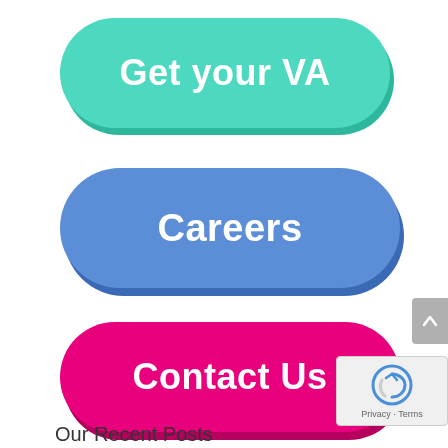[Figure (infographic): Teal pill-shaped button labeled 'Get your VA']
[Figure (infographic): Blue pill-shaped button labeled 'Careers']
[Figure (infographic): Pink/magenta pill-shaped button labeled 'Contact Us']
[Figure (screenshot): reCAPTCHA widget with Privacy and Terms text]
Our Recent Posts